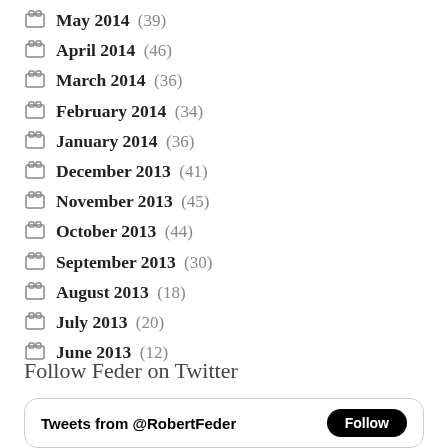May 2014 (39)
April 2014 (46)
March 2014 (36)
February 2014 (34)
January 2014 (36)
December 2013 (41)
November 2013 (45)
October 2013 (44)
September 2013 (30)
August 2013 (18)
July 2013 (20)
June 2013 (12)
Follow Feder on Twitter
[Figure (screenshot): Twitter widget showing 'Tweets from @RobertFeder' with a Follow button]